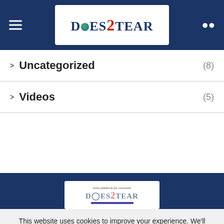[Figure (logo): Does2Tear website logo in header navigation bar with hamburger menu icon on left and search icon on right]
Uncategorized (8)
Videos (5)
[Figure (logo): Does2Tear logo in footer dark blue section with tagline 'news platform for everyone']
This website uses cookies to improve your experience. We'll assume you're ok with this, but you can opt-out if you wish.
Read More